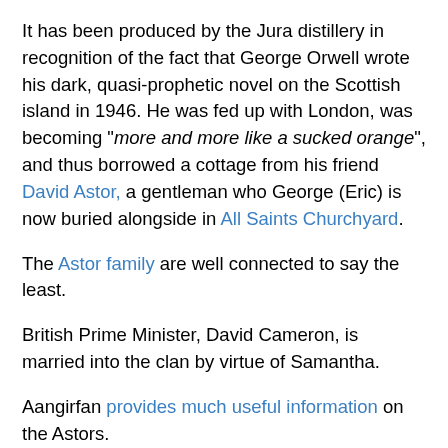It has been produced by the Jura distillery in recognition of the fact that George Orwell wrote his dark, quasi-prophetic novel on the Scottish island in 1946. He was fed up with London, was becoming "more and more like a sucked orange", and thus borrowed a cottage from his friend David Astor, a gentleman who George (Eric) is now buried alongside in All Saints Churchyard.
The Astor family are well connected to say the least.
British Prime Minister, David Cameron, is married into the clan by virtue of Samantha.
Aangirfan provides much useful information on the Astors.
Some people believe that Jura is Hinba, a place where the "bringer of Christianity to Scotland", Saint